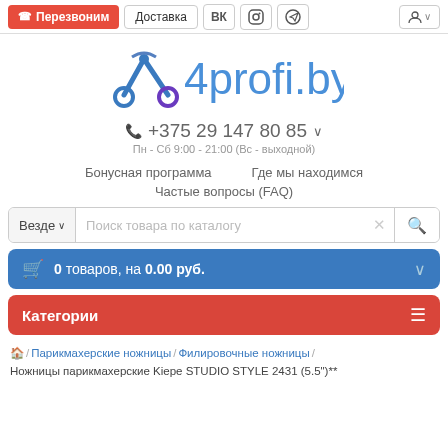Перезвоним | Доставка | ВК | Instagram | Telegram | Профиль
[Figure (logo): 4profi.by logo with scissors icon in blue]
+375 29 147 80 85
Пн - Сб 9:00 - 21:00 (Вс - выходной)
Бонусная программа
Где мы находимся
Частые вопросы (FAQ)
Везде ∨  Поиск товара по каталогу
0 товаров, на 0.00 руб.
Категории
🏠 / Парикмахерские ножницы / Филировочные ножницы / Ножницы парикмахерские Kiepe STUDIO STYLE 2431 (5.5")**